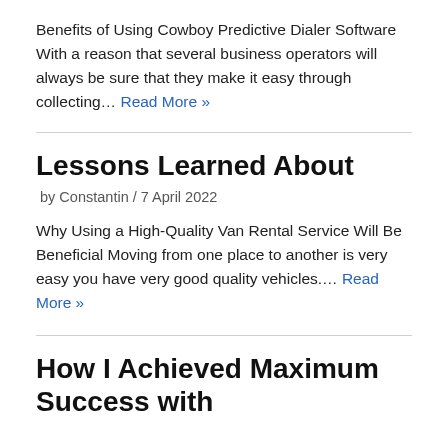Benefits of Using Cowboy Predictive Dialer Software With a reason that several business operators will always be sure that they make it easy through collecting… Read More »
Lessons Learned About
by Constantin / 7 April 2022
Why Using a High-Quality Van Rental Service Will Be Beneficial Moving from one place to another is very easy you have very good quality vehicles.… Read More »
How I Achieved Maximum Success with